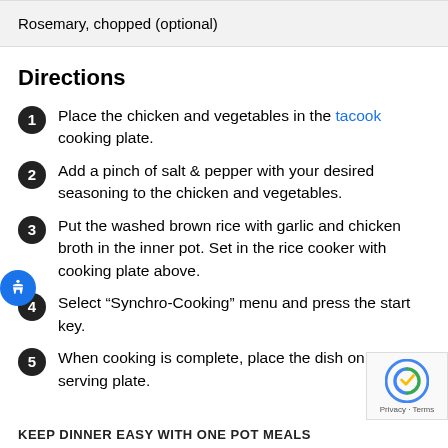Rosemary, chopped (optional)
Directions
Place the chicken and vegetables in the tacook cooking plate.
Add a pinch of salt & pepper with your desired seasoning to the chicken and vegetables.
Put the washed brown rice with garlic and chicken broth in the inner pot. Set in the rice cooker with cooking plate above.
Select “Synchro-Cooking” menu and press the start key.
When cooking is complete, place the dish on a serving plate.
KEEP DINNER EASY WITH ONE POT MEALS